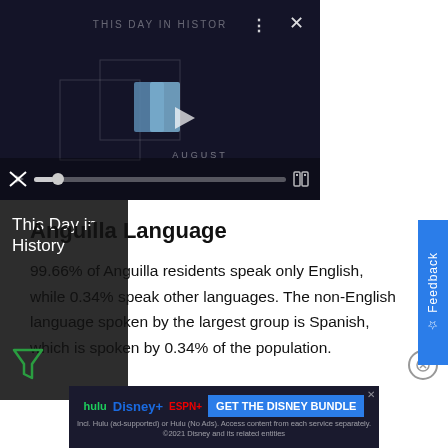[Figure (screenshot): Video player showing 'This Day in History' with play button, progress bar, mute icon, and video controls]
This Day in History
Anguilla Language
99.66% of Anguilla residents speak only English, while 0.34% speak other languages. The non-English language spoken by the largest group is Spanish, which is spoken by 0.34% of the population.
[Figure (screenshot): Disney Bundle advertisement banner with Hulu, Disney+, ESPN+ logos and 'GET THE DISNEY BUNDLE' button]